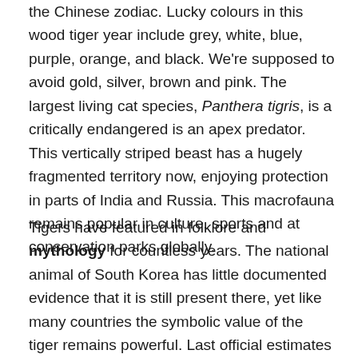the Chinese zodiac. Lucky colours in this wood tiger year include grey, white, blue, purple, orange, and black. We're supposed to avoid gold, silver, brown and pink. The largest living cat species, Panthera tigris, is a critically endangered is an apex predator. This vertically striped beast has a hugely fragmented territory now, enjoying protection in parts of India and Russia. This macrofauna remains popular in culture, sports and at conservation parks globally.
Tigers have featured in folklore and mythology for countless years. The national animal of South Korea has little documented evidence that it is still present there, yet like many countries the symbolic value of the tiger remains powerful. Last official estimates show there to be less than fifty tigers wild in China. The anti-pest campaigns of the 1950s have decimated the genetic breeding populations. However, close populations since 1900 have also...